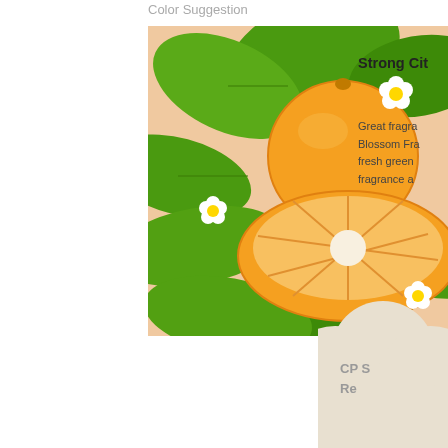Color Suggestion
[Figure (photo): Photo of oranges with green leaves and white blossoms on a peach/beige background. Shows a whole orange and a halved orange surrounded by citrus leaves and small white flowers.]
Strong Cit
Great fragra Blossom Fra fresh green fragrance a
[Figure (other): Cream/beige flower-shaped badge or label with text 'CP S Re' partially visible, on white background.]